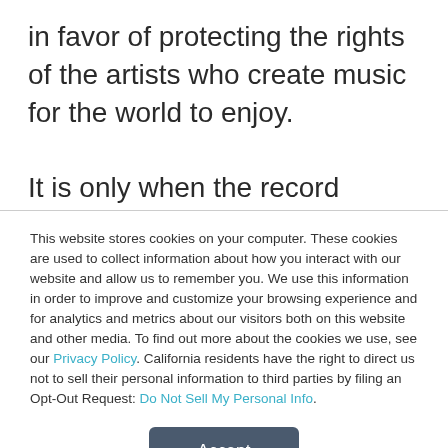in favor of protecting the rights of the artists who create music for the world to enjoy.

It is only when the record companies think their profits are in jeopardy that they pretend to give a flying-choose-your-own-noun for the artists, however. The contracts that transfer copyrights from musicians to record labels have
This website stores cookies on your computer. These cookies are used to collect information about how you interact with our website and allow us to remember you. We use this information in order to improve and customize your browsing experience and for analytics and metrics about our visitors both on this website and other media. To find out more about the cookies we use, see our Privacy Policy. California residents have the right to direct us not to sell their personal information to third parties by filing an Opt-Out Request: Do Not Sell My Personal Info.
Accept